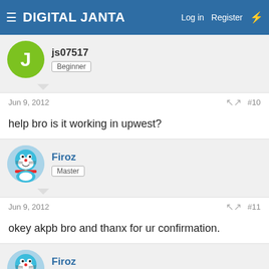DIGITAL JANTA | Log in | Register
js07517 | Beginner
Jun 9, 2012  #10
help bro is it working in upwest?
Firoz | Master
Jun 9, 2012  #11
okey akpb bro and thanx for ur confirmation.
Firoz | Master
Jun 9, 2012  #12